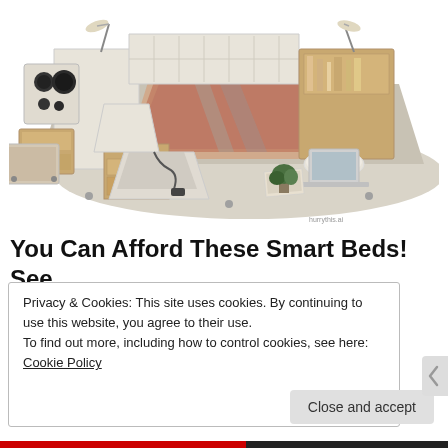[Figure (photo): A large luxury multi-functional smart bed with cream/beige leather upholstery, featuring built-in speakers on the left headboard, adjustable reading lamps, storage drawers at the foot and side, a reclining massage chair section, shelving units, and a laptop placed on the right side. Photographed on a white background from an elevated angle.]
You Can Afford These Smart Beds! See
Privacy & Cookies: This site uses cookies. By continuing to use this website, you agree to their use.
To find out more, including how to control cookies, see here: Cookie Policy